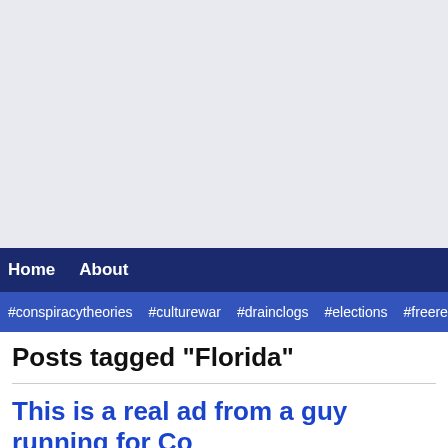[Figure (other): Advertisement/banner area with light blue-gray background]
Home  About
#conspiracytheories  #culturewar  #drainclogs  #elections  #freerep
Posts tagged "Florida"
This is a real ad from a guy running for Co…
[Figure (screenshot): Video thumbnail showing a person with the text 'Turn This Ship Around: Mark Oxner For Congres…' on a dark background]